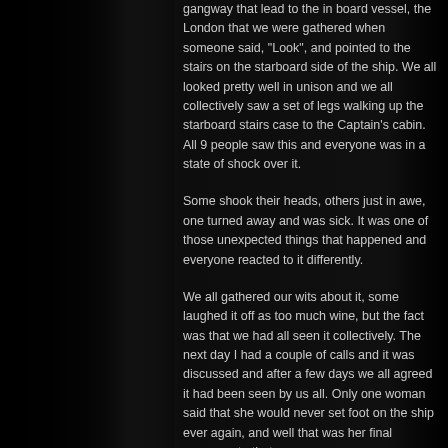gangway that lead to the in board vessel, the London that we were gathered when someone said, "Look", and pointed to the stairs on the starboard side of the ship. We all looked pretty well in unison and we all collectively saw a set of legs walking up the starboard stairs case to the Captain's cabin. All 9 people saw this and everyone was in a state of shock over it.
Some shook their heads, others just in awe, one turned away and was sick. It was one of those unexpected things that happened and everyone reacted to it differently.
We all gathered our wits about it, some laughed it off as too much wine, but the fact was that we had all seen it collectively. The next day I had a couple of calls and it was discussed and after a few days we all agreed it had been seen by us all. Only one woman said that she would never set foot on the ship ever again, and well that was her final response to that eve.